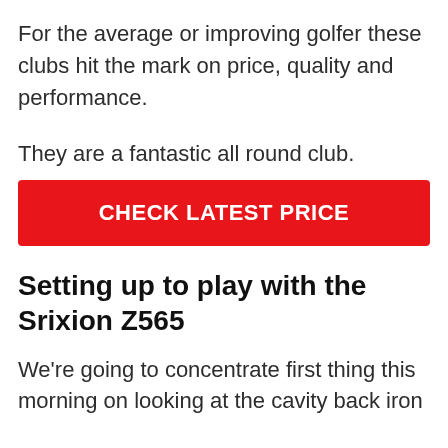For the average or improving golfer these clubs hit the mark on price, quality and performance.
They are a fantastic all round club.
[Figure (other): Red button with white bold text reading CHECK LATEST PRICE]
Setting up to play with the Srixion Z565
We're going to concentrate first thing this morning on looking at the cavity back iron